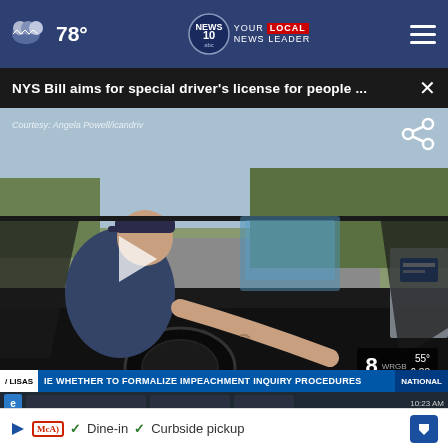78° — NEWS 10 ABC YOUR LOCAL NEWS LEADER
NYS Bill aims for special driver's license for people ...
[Figure (screenshot): Video still of a person driving a car, viewed from passenger side. Person's right arm on steering wheel. Road visible outside windshield. News ticker at bottom reading: WHETHER TO FORMALIZE IMPEACHMENT INQUIRY PROCEDURES | NATIONAL. Channel 8 WRGB bug at lower right showing 55° and 6:38.]
[Figure (screenshot): Advertisement banner showing 'TODAY.' in large white text on dark blue background with close button.]
[Figure (screenshot): Bottom ad strip showing McAlister's Deli ad with Dine-in and Curbside pickup options and navigation icon.]